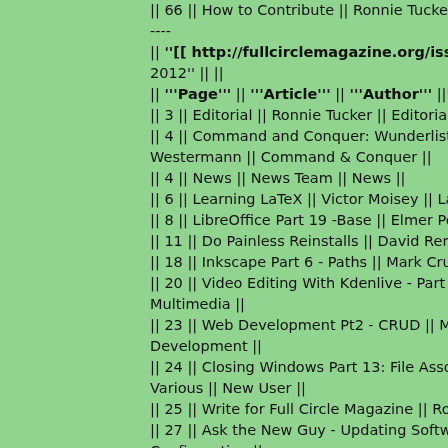|| 66 || How to Contribute || Ronnie Tucker || Submissions ---- || '''[[ http://fullcirclemagazine.org/issue-66/ | Issue-66 ]]''' 2012'' || || || '''Page''' || '''Article''' || '''Author''' ||'''Keyword'''|| || 3 || Editorial || Ronnie Tucker || Editorial || || 4 || Command and Conquer: Wunderlist & AirDroid || Luc Westermann || Command & Conquer || || 4 || News || News Team || News || || 6 || Learning LaTeX || Victor Moisey || LaTeX || || 8 || LibreOffice Part 19 -Base || Elmer Perry || LibreOffice || 11 || Do Painless Reinstalls || David Remelts || Installation || 18 || Inkscape Part 6 - Paths || Mark Crutch || Inkscape || || 20 || Video Editing With Kdenlive - Part 3 || Ronnie Tucker || Multimedia || || 23 || Web Development Pt2 - CRUD || Michael R. Youngblood || Web Development || || 24 || Closing Windows Part 13: File Associations (Open W... || Various || New User || || 25 || Write for Full Circle Magazine || Ronnie Tucker || Submissions || 27 || Ask the New Guy - Updating Software || Copil Yáñez || Configuration || || 30 || Linux Lab - Pivos XIOS DS Media Play || Charles Mc... || Multimedia ||